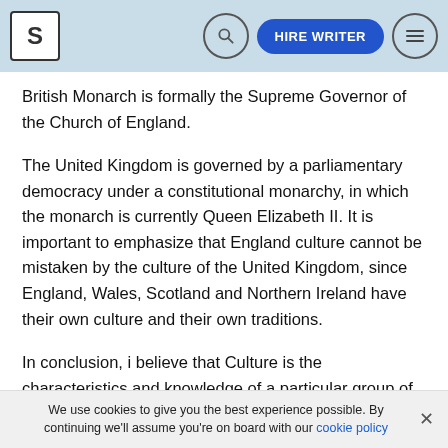S | [search] HIRE WRITER [menu]
British Monarch is formally the Supreme Governor of the Church of England.
The United Kingdom is governed by a parliamentary democracy under a constitutional monarchy, in which the monarch is currently Queen Elizabeth II. It is important to emphasize that England culture cannot be mistaken by the culture of the United Kingdom, since England, Wales, Scotland and Northern Ireland have their own culture and their own traditions.
In conclusion, i believe that Culture is the characteristics and knowledge of a particular group of people, encompassing language, religion, cuisine, social habits,
We use cookies to give you the best experience possible. By continuing we'll assume you're on board with our cookie policy